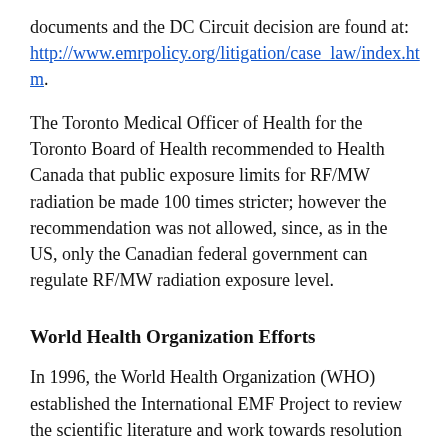documents and the DC Circuit decision are found at: http://www.emrpolicy.org/litigation/case_law/index.htm.
The Toronto Medical Officer of Health for the Toronto Board of Health recommended to Health Canada that public exposure limits for RF/MW radiation be made 100 times stricter; however the recommendation was not allowed, since, as in the US, only the Canadian federal government can regulate RF/MW radiation exposure level.
World Health Organization Efforts
In 1996, the World Health Organization (WHO) established the International EMF Project to review the scientific literature and work towards resolution of health concerns over the use of RF/MW technology. WHO maintains a Website that provides additional